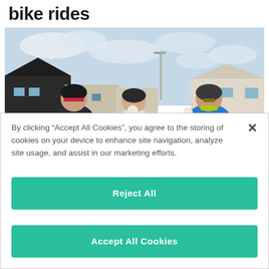bike rides
[Figure (photo): Three cyclists wearing helmets sitting outdoors holding ice cream cones, with houses and bicycles in the background on a cloudy day.]
By clicking “Accept All Cookies”, you agree to the storing of cookies on your device to enhance site navigation, analyze site usage, and assist in our marketing efforts.
Reject All
Accept All Cookies